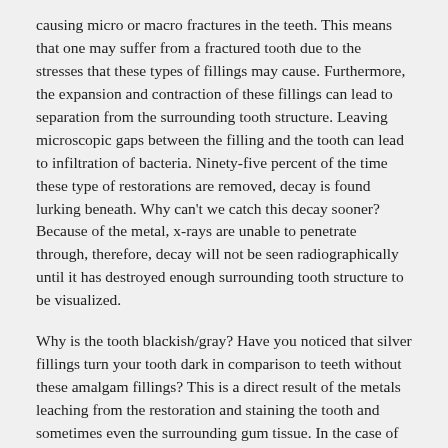causing micro or macro fractures in the teeth. This means that one may suffer from a fractured tooth due to the stresses that these types of fillings may cause. Furthermore, the expansion and contraction of these fillings can lead to separation from the surrounding tooth structure. Leaving microscopic gaps between the filling and the tooth can lead to infiltration of bacteria. Ninety-five percent of the time these type of restorations are removed, decay is found lurking beneath. Why can't we catch this decay sooner? Because of the metal, x-rays are unable to penetrate through, therefore, decay will not be seen radiographically until it has destroyed enough surrounding tooth structure to be visualized.
Why is the tooth blackish/gray? Have you noticed that silver fillings turn your tooth dark in comparison to teeth without these amalgam fillings? This is a direct result of the metals leaching from the restoration and staining the tooth and sometimes even the surrounding gum tissue. In the case of the latter, this is known as an amalgam tattoo. Unfortunately, once the gum tissue is stained, there is no